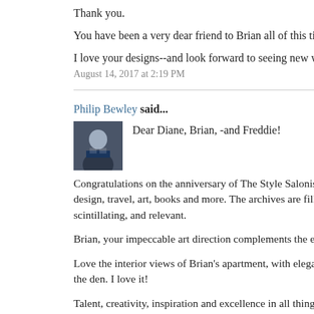Thank you.
You have been a very dear friend to Brian all of this time we h
I love your designs--and look forward to seeing new work soo
August 14, 2017 at 2:19 PM
Philip Bewley said...
[Figure (photo): Avatar photo of Philip Bewley, a man in a suit]
Dear Diane, Brian, -and Freddie!
Congratulations on the anniversary of The Style Saloniste. Thi design, travel, art, books and more. The archives are filled with scintillating, and relevant.
Brian, your impeccable art direction complements the excellen
Love the interior views of Brian's apartment, with elegant vigr the den. I love it!
Talent, creativity, inspiration and excellence in all things